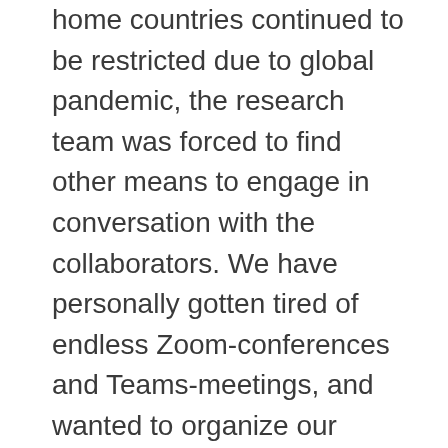home countries continued to be restricted due to global pandemic, the research team was forced to find other means to engage in conversation with the collaborators. We have personally gotten tired of endless Zoom-conferences and Teams-meetings, and wanted to organize our Grande Finale differently.

Instead of an online webinar, we